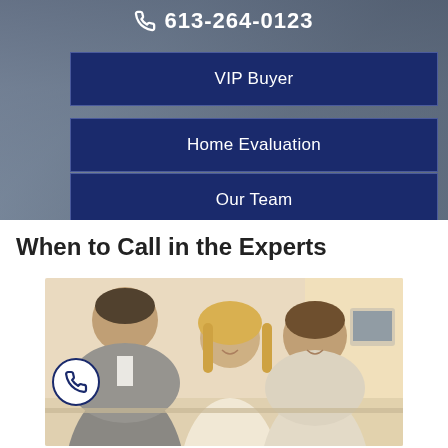613-264-0123
VIP Buyer
Home Evaluation
Our Team
When to Call in the Experts
[Figure (photo): A couple smiling while meeting with a professional advisor or agent across a desk, in a bright office setting.]